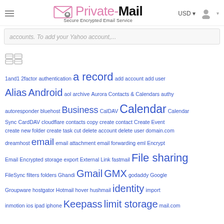Private-Mail — Secure Encrypted Email Service
accounts. To add your Yahoo account,...
[Figure (illustration): Tag/label icons]
1and1 2factor authentication a record add account add user Alias Android aol archive Aurora Contacts & Calendars authy autoresponder bluehost Business CalDAV Calendar Calendar Sync CardDAV cloudflare contacts copy create contact Create Event create new folder create task cut delete account delete user domain.com dreamhost email email attachment email forwarding eml Encrypt Email Encrypted storage export External Link fastmail File sharing FileSync filters folders Ghandi Gmail GMX godaddy Google Groupware hostgator Hotmail hover hushmail identity import inmotion ios ipad iphone Keepass limit storage mail.com